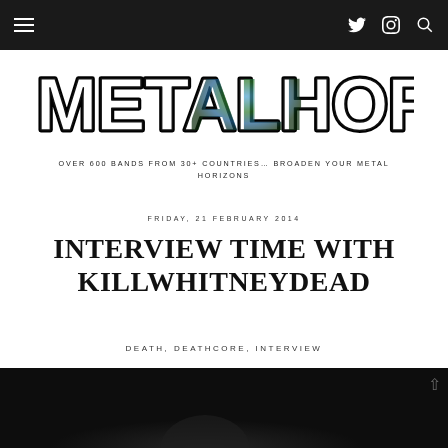Metal Horizons navigation bar with hamburger menu and social icons (Twitter, Instagram, Search)
[Figure (logo): METAL HORIZONS logo in stylized heavy metal font with globe/earth imagery incorporated into letters]
OVER 600 BANDS FROM 30+ COUNTRIES... BROADEN YOUR METAL HORIZONS
FRIDAY, 21 FEBRUARY 2014
INTERVIEW TIME WITH KILLWHITNEYDEAD
DEATH, DEATHCORE, INTERVIEW
[Figure (photo): Dark photo at the bottom of the page, partially visible, showing a figure in dark/black lighting]